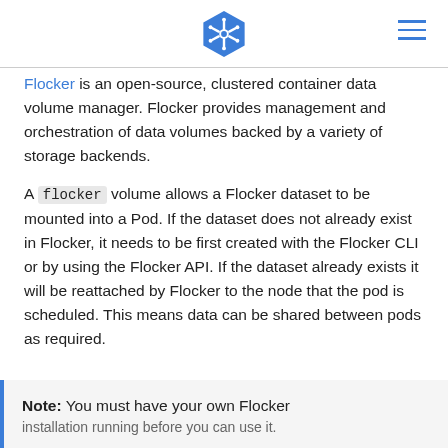Kubernetes logo and navigation menu
Flocker is an open-source, clustered container data volume manager. Flocker provides management and orchestration of data volumes backed by a variety of storage backends.
A flocker volume allows a Flocker dataset to be mounted into a Pod. If the dataset does not already exist in Flocker, it needs to be first created with the Flocker CLI or by using the Flocker API. If the dataset already exists it will be reattached by Flocker to the node that the pod is scheduled. This means data can be shared between pods as required.
Note: You must have your own Flocker installation running before you can use it.